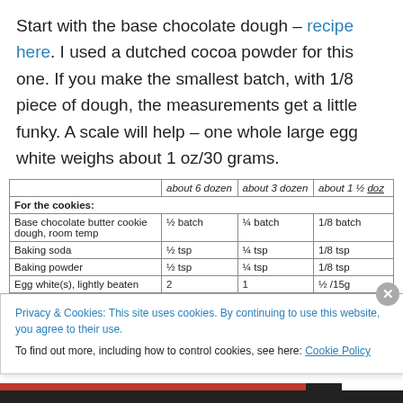Start with the base chocolate dough – recipe here. I used a dutched cocoa powder for this one. If you make the smallest batch, with 1/8 piece of dough, the measurements get a little funky. A scale will help – one whole large egg white weighs about 1 oz/30 grams.
|  | about 6 dozen | about 3 dozen | about 1 ½ doz |
| --- | --- | --- | --- |
| For the cookies: |  |  |  |
| Base chocolate butter cookie dough, room temp | ½ batch | ¼ batch | 1/8 batch |
| Baking soda | ½ tsp | ¼ tsp | 1/8 tsp |
| Baking powder | ½ tsp | ¼ tsp | 1/8 tsp |
| Egg white(s), lightly beaten | 2 | 1 | ½ /15g |
| Maraschino cherries, drained |  |  |  |
| Chocolate chips | ½ cup (approx.) | ¼ cup (approx.) | 2 Tbls (approx.) |
| For the glaze: |  |  |  |
Privacy & Cookies: This site uses cookies. By continuing to use this website, you agree to their use. To find out more, including how to control cookies, see here: Cookie Policy